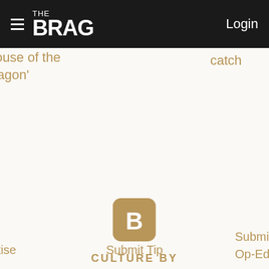THE BRAG  Login
'House of the Dragon'
catch
Clooney
[Figure (logo): The Brag media logo icon — a rounded square with a stylized B letter in gold/tan color]
CULTURE BY
ertise
Submit Tip
SubmitSu
Op-Ed Vi